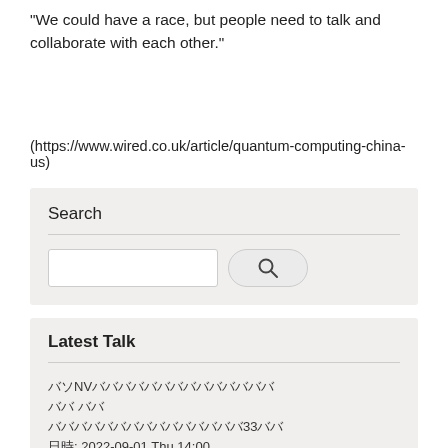“We could have a race, but people need to talk and collaborate with each other.”
(https://www.wired.co.uk/article/quantum-computing-china-us)
Search
[Figure (other): Search widget with text input box and search button]
Latest Talk
バヺNVババババババババババババババ
ババ ババ
バババババババババババババババ33ババ
日時: 2022-09-01 Thu 14:00
部屋: バババババ463-288-941